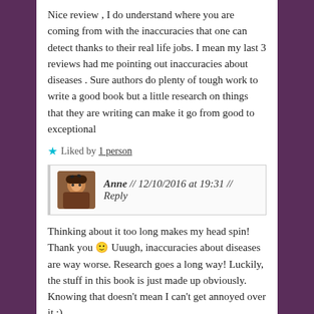Nice review , I do understand where you are coming from with the inaccuracies that one can detect thanks to their real life jobs. I mean my last 3 reviews had me pointing out inaccuracies about diseases . Sure authors do plenty of tough work to write a good book but a little research on things that they are writing can make it go from good to exceptional
★ Liked by 1 person
Anne // 12/10/2016 at 19:31 // Reply
Thinking about it too long makes my head spin! Thank you 🙂 Uuugh, inaccuracies about diseases are way worse. Research goes a long way! Luckily, the stuff in this book is just made up obviously. Knowing that doesn't mean I can't get annoyed over it ;).